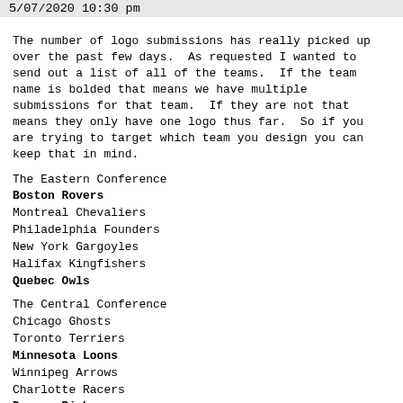5/07/2020 10:30 pm
The number of logo submissions has really picked up over the past few days.  As requested I wanted to send out a list of all of the teams.  If the team name is bolded that means we have multiple submissions for that team.  If they are not that means they only have one logo thus far.  So if you are trying to target which team you design you can keep that in mind.
The Eastern Conference
Boston Rovers
Montreal Chevaliers
Philadelphia Founders
New York Gargoyles
Halifax Kingfishers
Quebec Owls
The Central Conference
Chicago Ghosts
Toronto Terriers
Minnesota Loons
Winnipeg Arrows
Charlotte Racers
Denver Bighorns
The Western Conference
Calgary Wranglers
Vancouver Glaciers
San Francisco Dragons
Los Angeles Titans
Portland Sawblades